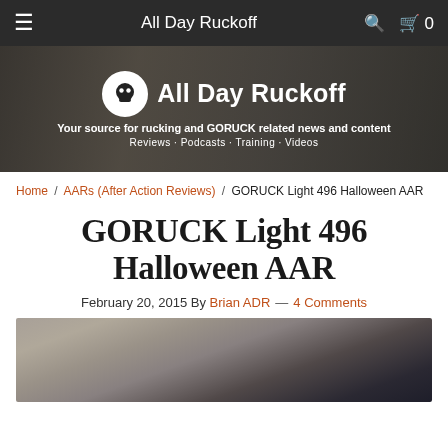All Day Ruckoff
[Figure (screenshot): All Day Ruckoff website hero banner with logo, site title, tagline, and sub-navigation links]
Home / AARs (After Action Reviews) / GORUCK Light 496 Halloween AAR
GORUCK Light 496 Halloween AAR
February 20, 2015 By Brian ADR — 4 Comments
[Figure (photo): Close-up photo of GORUCK gear on gravelly ground]